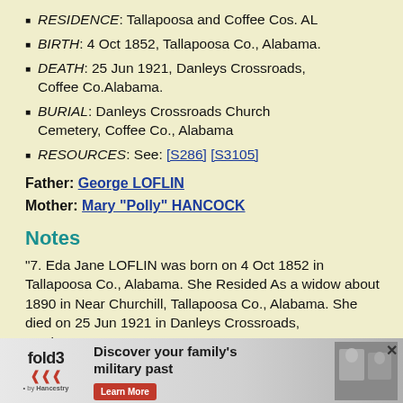RESIDENCE: Tallapoosa and Coffee Cos. AL
BIRTH: 4 Oct 1852, Tallapoosa Co., Alabama.
DEATH: 25 Jun 1921, Danleys Crossroads, Coffee Co.Alabama.
BURIAL: Danleys Crossroads Church Cemetery, Coffee Co., Alabama
RESOURCES: See: [S286] [S3105]
Father: George LOFLIN
Mother: Mary "Polly" HANCOCK
Notes
"7. Eda Jane LOFLIN was born on 4 Oct 1852 in Tallapoosa Co., Alabama. She Resided As a widow about 1890 in Near Churchill, Tallapoosa Co., Alabama. She died on 25 Jun 1921 in Danleys Crossroads, Danleys ... Alabama.